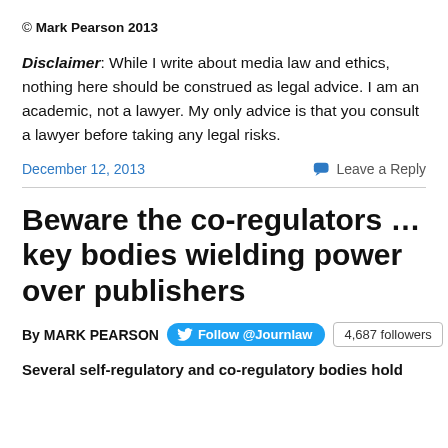© Mark Pearson 2013
Disclaimer: While I write about media law and ethics, nothing here should be construed as legal advice. I am an academic, not a lawyer. My only advice is that you consult a lawyer before taking any legal risks.
December 12, 2013
Leave a Reply
Beware the co-regulators … key bodies wielding power over publishers
By MARK PEARSON    Follow @Journlaw    4,687 followers
Several self-regulatory and co-regulatory bodies hold